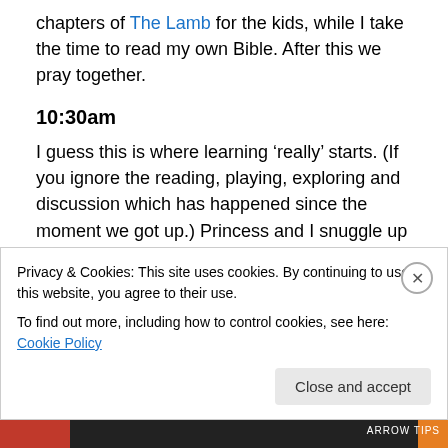chapters of The Lamb for the kids, while I take the time to read my own Bible. After this we pray together.
10:30am
I guess this is where learning ‘really’ starts. (If you ignore the reading, playing, exploring and discussion which has happened since the moment we got up.) Princess and I snuggle up on the window-seat and read two chapters of her maths book, Life of Fred: Butterflies. We started going through the whole elementary series all together a few months ago, but when we reached half-way, it started to
Privacy & Cookies: This site uses cookies. By continuing to use this website, you agree to their use.
To find out more, including how to control cookies, see here: Cookie Policy